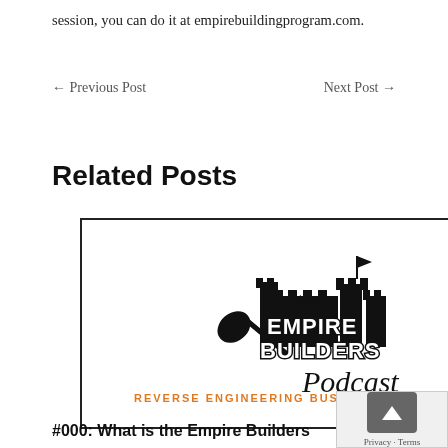session, you can do it at empirebuildingprogram.com.
← Previous Post    Next Post →
Related Posts
[Figure (logo): The Empire Builders Podcast logo — black castle silhouette with shovel, script title 'the EMPIRE BUILDERS Podcast', orange tagline text 'REVERSE ENGINEERING BUSINESS SUCCESS']
#000: What is the Empire Builders